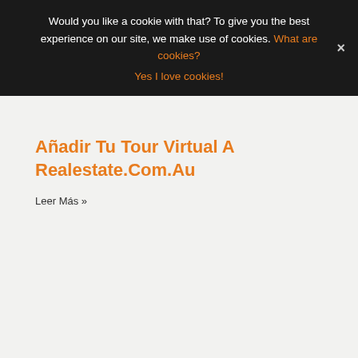Would you like a cookie with that? To give you the best experience on our site, we make use of cookies. What are cookies? Yes I love cookies!
Añadir Tu Tour Virtual A Realestate.Com.Au
Leer Más »